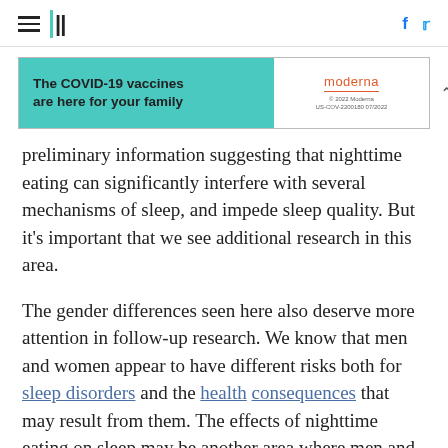HuffPost header with hamburger menu, logo, Facebook and Twitter icons
[Figure (other): Moderna COVID-19 vaccine advertisement: 'The COVID-19 vaccines are here for your family' on teal background with Moderna logo and disclaimer text]
preliminary information suggesting that nighttime eating can significantly interfere with several mechanisms of sleep, and impede sleep quality. But it's important that we see additional research in this area.
The gender differences seen here also deserve more attention in follow-up research. We know that men and women appear to have different risks both for sleep disorders and the health consequences that may result from them. The effects of nighttime eating on sleep may be another area where men and women face different hazards.